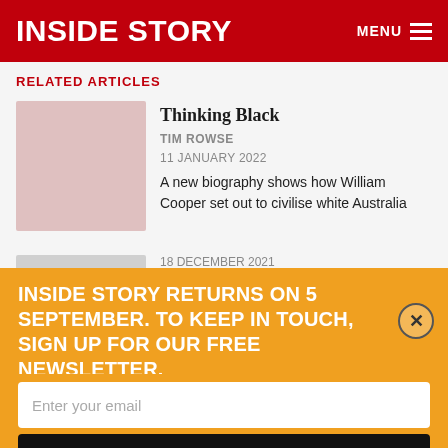INSIDE STORY
RELATED ARTICLES
Thinking Black
TIM ROWSE
11 JANUARY 2022
A new biography shows how William Cooper set out to civilise white Australia
INSIDE STORY RETURNS ON 5 SEPTEMBER. TO KEEP IN TOUCH, SIGN UP FOR OUR FREE NEWSLETTER.
18 DECEMBER 2021
The perceived threat posed by Europe's postwar "Displaced Persons" helped shape today's international refugee regime
Enter your email
SUBSCRIBE